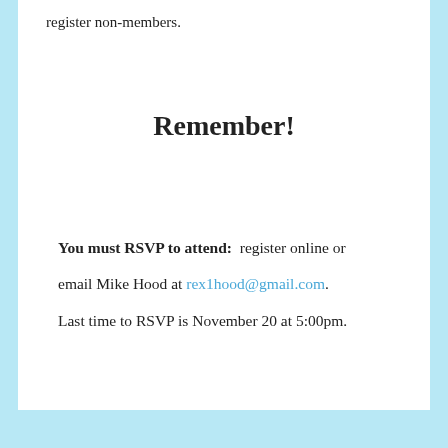register non-members.
Remember!
You must RSVP to attend:  register online or email Mike Hood at rex1hood@gmail.com. Last time to RSVP is November 20 at 5:00pm.